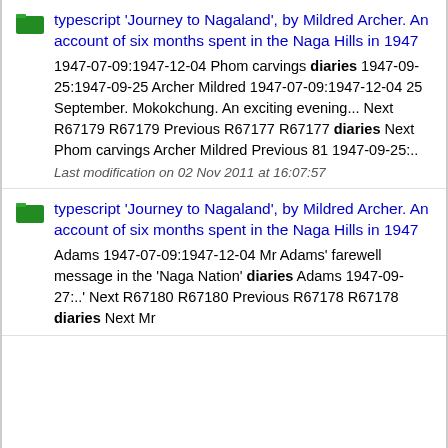typescript 'Journey to Nagaland', by Mildred Archer. An account of six months spent in the Naga Hills in 1947
1947-07-09:1947-12-04 Phom carvings diaries 1947-09-25:1947-09-25 Archer Mildred 1947-07-09:1947-12-04 25 September. Mokokchung. An exciting evening... Next R67179 R67179 Previous R67177 R67177 diaries Next Phom carvings Archer Mildred Previous 81 1947-09-25:..
Last modification on 02 Nov 2011 at 16:07:57
typescript 'Journey to Nagaland', by Mildred Archer. An account of six months spent in the Naga Hills in 1947
Adams 1947-07-09:1947-12-04 Mr Adams' farewell message in the 'Naga Nation' diaries Adams 1947-09-27:..' Next R67180 R67180 Previous R67178 R67178 diaries Next Mr